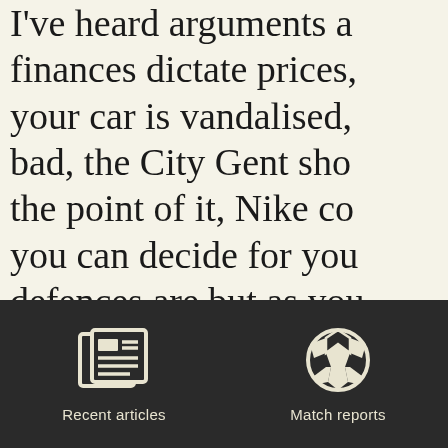I've heard arguments a finances dictate prices, your car is vandalised, bad, the City Gent sho the point of it, Nike co you can decide for you defences are but as you coming from the "prop on the current board, b reactions would differ. My point is that we sh
[Figure (other): Bottom navigation bar with dark background containing two navigation items: 'Recent articles' with a newspaper icon, and 'Match reports' with a soccer ball icon]